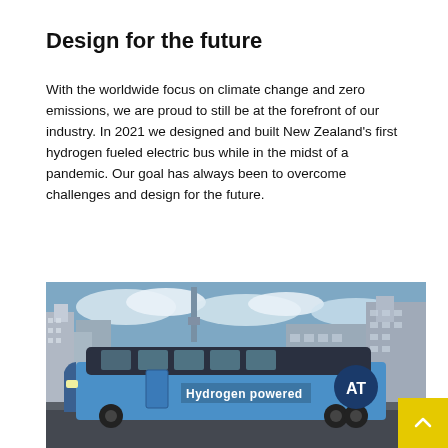Design for the future
With the worldwide focus on climate change and zero emissions, we are proud to still be at the forefront of our industry.  In 2021 we designed and built New Zealand's first hydrogen fueled electric bus while in the midst of a pandemic.  Our goal has always been to overcome challenges and design for the future.
[Figure (photo): A hydrogen powered electric bus with 'Hydrogen powered' text on its side and the AT logo, photographed in front of an urban skyline with tall buildings.]